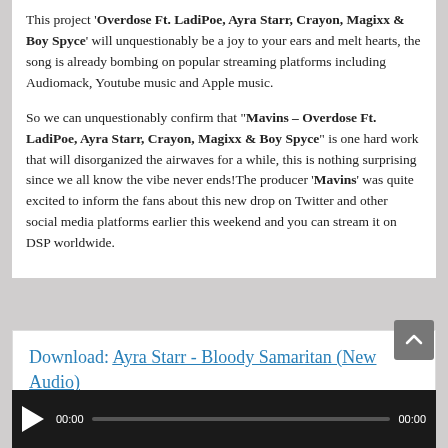This project 'Overdose Ft. LadiPoe, Ayra Starr, Crayon, Magixx & Boy Spyce' will unquestionably be a joy to your ears and melt hearts, the song is already bombing on popular streaming platforms including Audiomack, Youtube music and Apple music.
So we can unquestionably confirm that "Mavins – Overdose Ft. LadiPoe, Ayra Starr, Crayon, Magixx & Boy Spyce" is one hard work that will disorganized the airwaves for a while, this is nothing surprising since we all know the vibe never ends!The producer 'Mavins' was quite excited to inform the fans about this new drop on Twitter and other social media platforms earlier this weekend and you can stream it on DSP worldwide.
Download: Ayra Starr - Bloody Samaritan (New Audio)
[Figure (other): Audio player bar with play button, time display 00:00, progress bar, and end time 00:00]